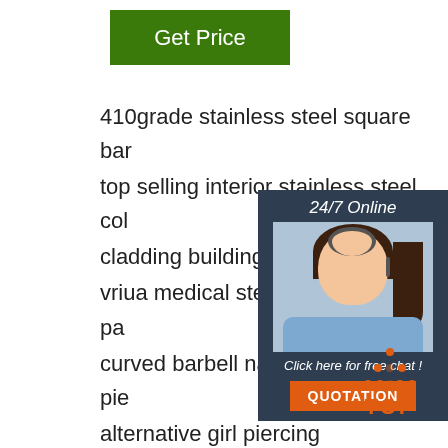[Figure (other): Green 'Get Price' button]
410grade stainless steel square bar
top selling interior stainless steel col
cladding building structure pillarng
vriua medical steel plated baking pa
curved barbell navel belly button pie
alternative girl piercing
q420b low carbon alloy high strength
coil
d2 1 2379 tool steel bar price
seamless steel pipe company bon steel gb
onw thick wall pipe galvanized welding gb 30
[Figure (other): 24/7 Online chat widget with agent photo, 'Click here for free chat!' text, and QUOTATION button]
[Figure (other): TOP icon with orange dots triangle and TOP text]